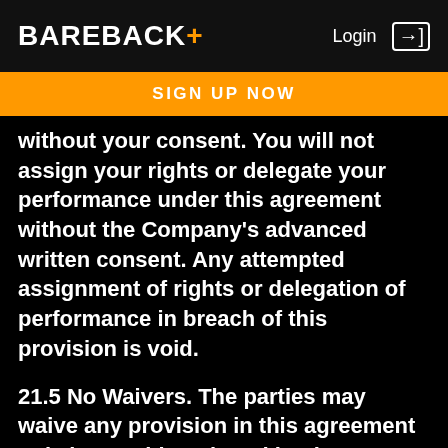BAREBACK+ Login
SIGN UP NOW
without your consent. You will not assign your rights or delegate your performance under this agreement without the Company's advanced written consent. Any attempted assignment of rights or delegation of performance in breach of this provision is void.
21.5 No Waivers. The parties may waive any provision in this agreement only by a writing signed by the party or parties against whom the waiver is sought to be enforced. No failure or delay in exercising any right or remedy, or